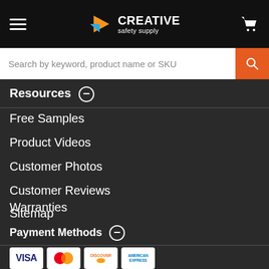Creative Safety Supply — navigation header with hamburger menu and cart icon
Search by keyword, product name or SKU
Resources
Free Samples
Product Videos
Customer Photos
Customer Reviews
Sitemap
Warranties
Payment Methods
[Figure (other): Payment method icons: Visa, Mastercard, Discover, American Express]